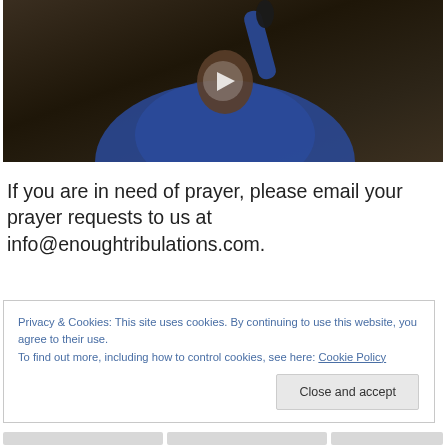[Figure (photo): Video thumbnail showing a woman in blue clothing holding a microphone raised above her head, with a play button overlay in the center. Dark brown background.]
If you are in need of prayer, please email your prayer requests to us at info@enoughtribulations.com.
Privacy & Cookies: This site uses cookies. By continuing to use this website, you agree to their use.
To find out more, including how to control cookies, see here: Cookie Policy
Close and accept